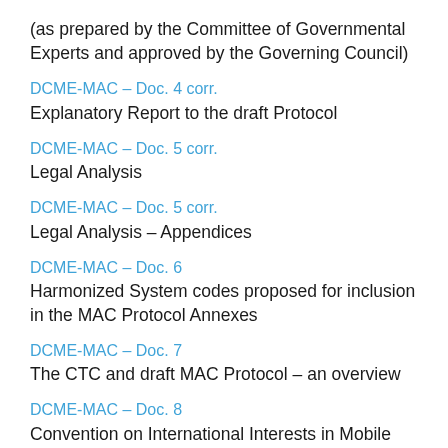(as prepared by the Committee of Governmental Experts and approved by the Governing Council)
DCME-MAC – Doc. 4 corr.
Explanatory Report to the draft Protocol
DCME-MAC – Doc. 5 corr.
Legal Analysis
DCME-MAC – Doc. 5 corr.
Legal Analysis – Appendices
DCME-MAC – Doc. 6
Harmonized System codes proposed for inclusion in the MAC Protocol Annexes
DCME-MAC – Doc. 7
The CTC and draft MAC Protocol – an overview
DCME-MAC – Doc. 8
Convention on International Interests in Mobile Equipment